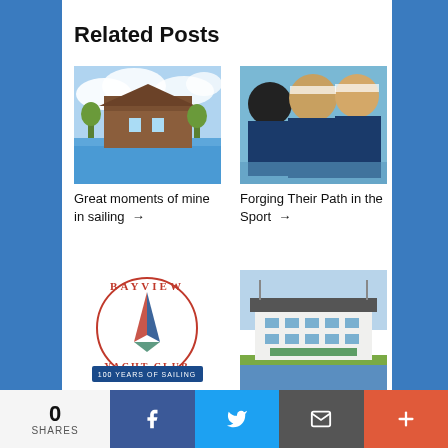Related Posts
[Figure (illustration): Watercolor painting of a waterfront building with blue sky and water in foreground]
Great moments of mine in sailing →
[Figure (photo): Three women in sailing gear and sunglasses on a sailboat]
Forging Their Path in the Sport →
[Figure (logo): Bayview Yacht Club logo - circular text with sailing boat graphic, 100 Years of Sailing banner]
Bayview Yacht Club's 100-Year Milestone →
[Figure (photo): White building / yacht club house near waterfront]
Reducing barriers for sailing →
0
SHARES